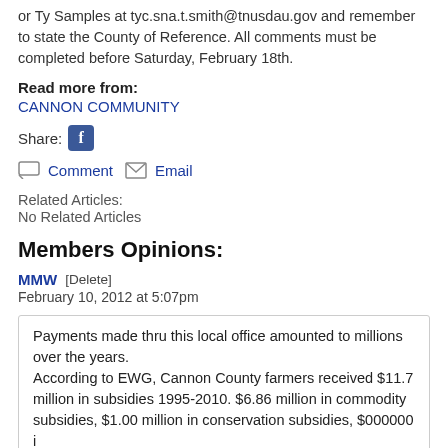or Ty Samples at tyc.sna.t.smith@tnusdau.gov and remember to state the County of Reference. All comments must be completed before Saturday, February 18th.
Read more from:
CANNON COMMUNITY
Share:
Comment   Email
Related Articles:
No Related Articles
Members Opinions:
MMW   [Delete]
February 10, 2012 at 5:07pm
Payments made thru this local office amounted to millions over the years.
According to EWG, Cannon County farmers received $11.7 million in subsidies 1995-2010. $6.86 million in commodity subsidies, $1.00 million in conservation subsidies, $000000 i